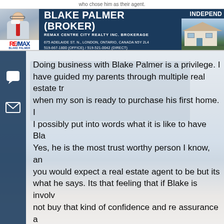who chose him as their agent.
[Figure (photo): Real estate broker banner with photo of Blake Palmer, REMAX logo, contact information, and house photo]
Doing business with Blake Palmer is a privilege. I have guided my parents through multiple real estate transactions, when my son is ready to purchase his first home. I possibly put into words what it is like to have Blake as my agent. Yes, he is the most trust worthy person I know, and you would expect a real estate agent to be but its what he says. Its that feeling that if Blake is involved, not buy that kind of confidence and re assurance anywhere. If you are reading this and contemplating who to go with, I assure you, you will not regret it....you will not be